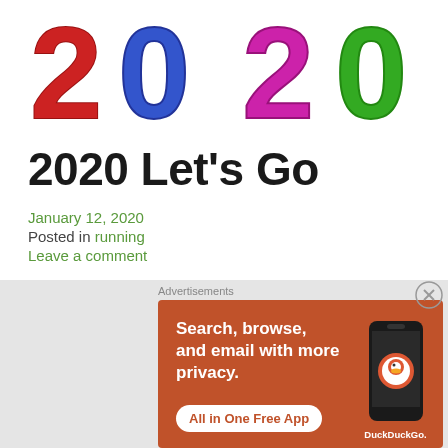[Figure (illustration): 3D colorful numbers 2020 — red 2, blue 0, magenta/pink 2, green 0 — rendered in large bold 3D style on white background, partially cropped at top]
2020 Let’s Go
January 12, 2020
Posted in running
Leave a comment
Advertisements
[Figure (screenshot): DuckDuckGo advertisement banner with orange/red background. Text reads: Search, browse, and email with more privacy. All in One Free App. Shows a smartphone with DuckDuckGo logo and branding.]